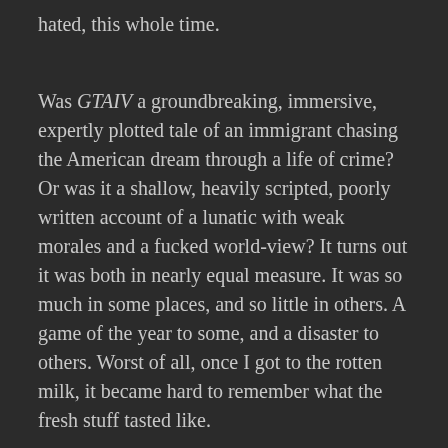hated, this whole time.
Was GTAIV a groundbreaking, immersive, expertly plotted tale of an immigrant chasing the American dream through a life of crime? Or was it a shallow, heavily scripted, poorly written account of a lunatic with weak morales and a fucked world-view? It turns out it was both in nearly equal measure. It was so much in some places, and so little in others. A game of the year to some, and a disaster to others. Worst of all, once I got to the rotten milk, it became hard to remember what the fresh stuff tasted like.
It's hard to recommend a game that never blossoms to its full potential. It's even harder to recommend a game that attempts to undo all the great foundation it establishes. It's also hard to deny how amazing Grand Theft Auto IV seemed at the start. That it ultimately fell flat doesn't